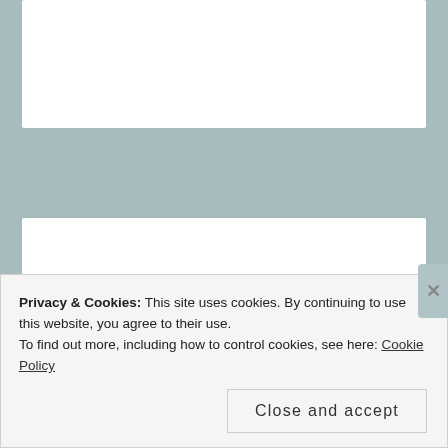Idioms: as well meaning
Posted on December 3, 2019
Idioms
as well meaning
Privacy & Cookies: This site uses cookies. By continuing to use this website, you agree to their use.
To find out more, including how to control cookies, see here: Cookie Policy
Close and accept